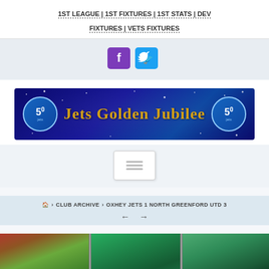1ST LEAGUE | 1ST FIXTURES | 1ST STATS | DEV FIXTURES | VETS FIXTURES
[Figure (infographic): Facebook and Twitter social media icon buttons]
[Figure (infographic): Jets Golden Jubilee 50th anniversary banner on dark blue starry background with gold text]
[Figure (infographic): Hamburger menu icon button]
HOME > CLUB ARCHIVE > OXHEY JETS 1 NORTH GREENFORD UTD 3
[Figure (photo): Two outdoor sports ground photographs side by side showing trees and pitch area]